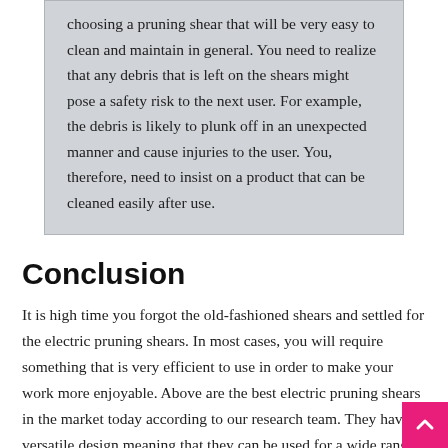choosing a pruning shear that will be very easy to clean and maintain in general. You need to realize that any debris that is left on the shears might pose a safety risk to the next user. For example, the debris is likely to plunk off in an unexpected manner and cause injuries to the user. You, therefore, need to insist on a product that can be cleaned easily after use.
Conclusion
It is high time you forgot the old-fashioned shears and settled for the electric pruning shears. In most cases, you will require something that is very efficient to use in order to make your work more enjoyable. Above are the best electric pruning shears in the market today according to our research team. They have a versatile design meaning that they can be used for a wide range of applications. Other than being cost-effective, they will